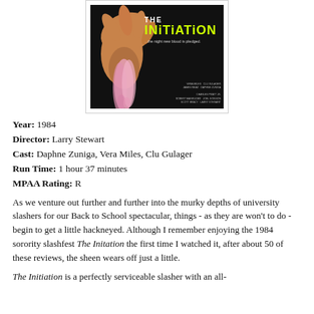[Figure (photo): Movie poster for 'The Initiation' (1984) showing a hand gripping a pink garment against a dark background, with yellow-green title text and tagline '...the night new blood is pledged.']
Year: 1984
Director: Larry Stewart
Cast: Daphne Zuniga, Vera Miles, Clu Gulager
Run Time: 1 hour 37 minutes
MPAA Rating: R
As we venture out further and further into the murky depths of university slashers for our Back to School spectacular, things - as they are won't to do - begin to get a little hackneyed. Although I remember enjoying the 1984 sorority slashfest The Initation the first time I watched it, after about 50 of these reviews, the sheen wears off just a little.
The Initiation is a perfectly serviceable slasher with an all-